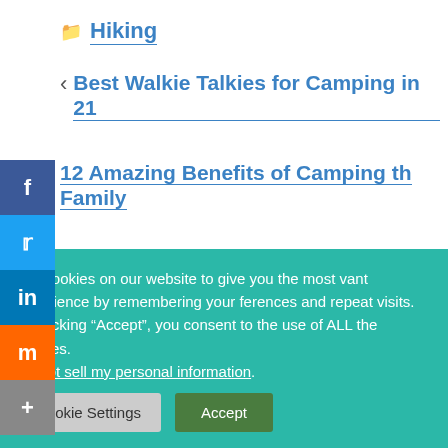Hiking
< Best Walkie Talkies for Camping in 21
12 Amazing Benefits of Camping th Family
use cookies on our website to give you the most vant experience by remembering your ferences and repeat visits. By clicking “Accept”, you consent to the use of ALL the cookies. Do not sell my personal information.
Cookie Settings | Accept